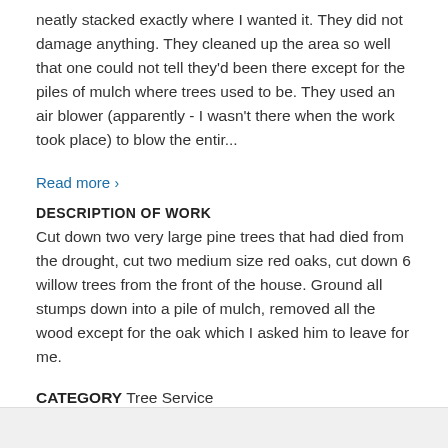neatly stacked exactly where I wanted it. They did not damage anything. They cleaned up the area so well that one could not tell they'd been there except for the piles of mulch where trees used to be. They used an air blower (apparently - I wasn't there when the work took place) to blow the entir...
Read more ›
DESCRIPTION OF WORK
Cut down two very large pine trees that had died from the drought, cut two medium size red oaks, cut down 6 willow trees from the front of the house. Ground all stumps down into a pile of mulch, removed all the wood except for the oak which I asked him to leave for me.
CATEGORY Tree Service